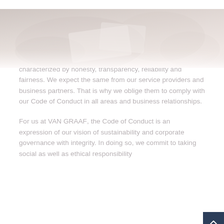[Figure (photo): Blurred photo of two people shaking hands or exchanging documents at a table, soft warm tones, faded/washed out appearance]
Doing business more fairly with integrity.
We believe it is important that all our activities are characterized by honesty, transparency, reliability and fairness. We expect the same from our service providers and business partners. That is why we oblige them to comply with our Code of Conduct in all areas and business relationships.
For us at VAN GRAAF, the Code of Conduct is an expression of our vision of sustainability and corporate governance with integrity. In doing so, we commit to taking social as well as ethical responsibility